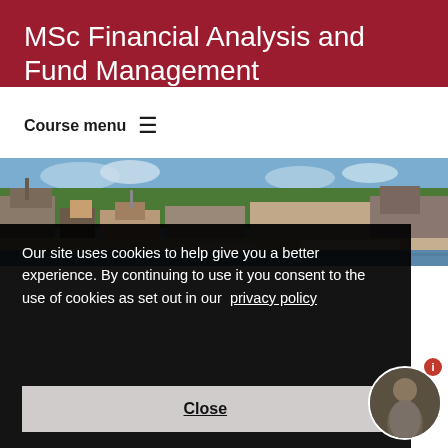MSc Financial Analysis and Fund Management
Course menu ≡
[Figure (photo): Riverside town scene with historic buildings, green trees, and boats on a river on a sunny day]
Our site uses cookies to help give you a better experience. By continuing to use it you consent to the use of cookies as set out in our privacy policy
Close